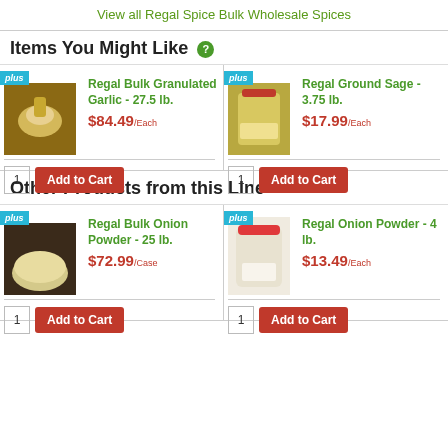View all Regal Spice Bulk Wholesale Spices
Items You Might Like ?
[Figure (photo): Regal Bulk Granulated Garlic product photo]
Regal Bulk Granulated Garlic - 27.5 lb.
$84.49/Each
[Figure (photo): Regal Ground Sage product photo]
Regal Ground Sage - 3.75 lb.
$17.99/Each
Other Products from this Line
[Figure (photo): Regal Bulk Onion Powder product photo]
Regal Bulk Onion Powder - 25 lb.
$72.99/Case
[Figure (photo): Regal Onion Powder 4 lb product photo]
Regal Onion Powder - 4 lb.
$13.49/Each